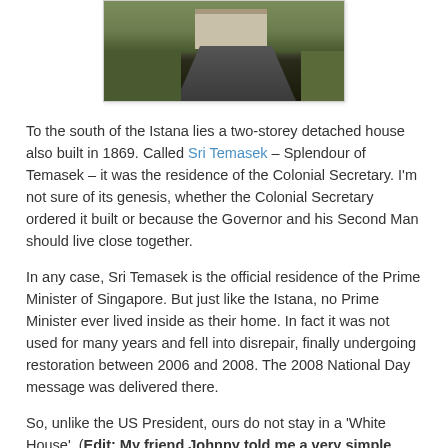[Figure (photo): Photograph of Sri Temasek building viewed from a driveway, with trees and lawn surrounding it]
To the south of the Istana lies a two-storey detached house also built in 1869. Called Sri Temasek – Splendour of Temasek – it was the residence of the Colonial Secretary. I'm not sure of its genesis, whether the Colonial Secretary ordered it built or because the Governor and his Second Man should live close together.
In any case, Sri Temasek is the official residence of the Prime Minister of Singapore. But just like the Istana, no Prime Minister ever lived inside as their home. In fact it was not used for many years and fell into disrepair, finally undergoing restoration between 2006 and 2008. The 2008 National Day message was delivered there.
So, unlike the US President, ours do not stay in a 'White House'. (Edit: My friend Johnny told me a very simple